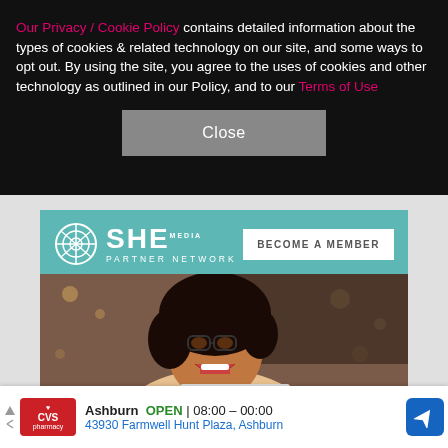Our Privacy / Cookie Policy contains detailed information about the types of cookies & related technology on our site, and some ways to opt out. By using the site, you agree to the uses of cookies and other technology as outlined in our Policy, and to our Terms of Use
[Figure (screenshot): Close button for cookie consent banner]
[Figure (infographic): SHE Media Partner Network advertisement. Shows logo, 'BECOME A MEMBER' button, photo of smiling woman with glasses and laptop, tagline 'WE HELP CONTENT CREATORS GROW BUSINESSES THROUGH...' and 'LEARN MORE' button.]
[Figure (infographic): CVS Pharmacy ad bar showing location: Ashburn OPEN 08:00 - 00:00, 43930 Farmwell Hunt Plaza, Ashburn with navigation icon]